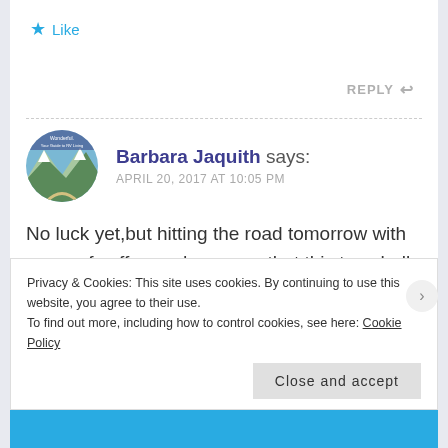★ Like
REPLY ↩
Barbara Jaquith says: APRIL 20, 2017 AT 10:05 PM
No luck yet,but hitting the road tomorrow with a cup of coffee and a prayer that this too shall pass. Hope you are doing well. Heard Everett is no more
Privacy & Cookies: This site uses cookies. By continuing to use this website, you agree to their use.
To find out more, including how to control cookies, see here: Cookie Policy
Close and accept